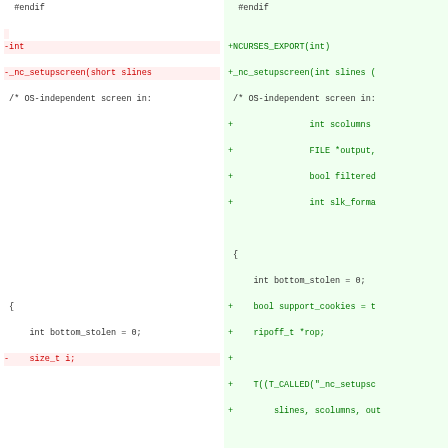[Figure (screenshot): A code diff view split into two panels (left: deleted/old code in red, right: added/new code in green) showing changes to _nc_setupscreen function in C source code]